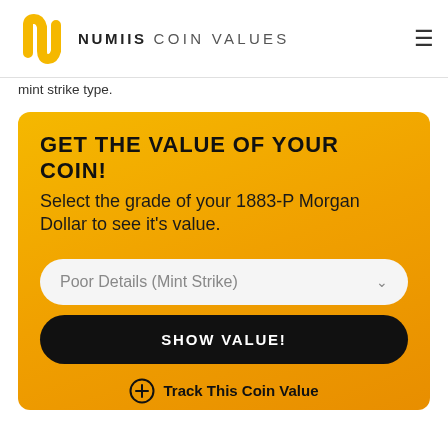NUMIIS COIN VALUES
mint strike type.
GET THE VALUE OF YOUR COIN!
Select the grade of your 1883-P Morgan Dollar to see it's value.
Poor Details (Mint Strike)
SHOW VALUE!
Track This Coin Value